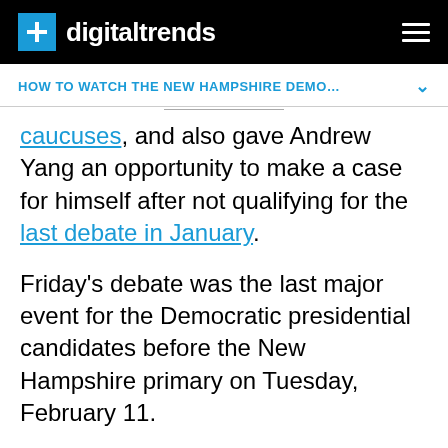digitaltrends
HOW TO WATCH THE NEW HAMPSHIRE DEMO…
caucuses, and also gave Andrew Yang an opportunity to make a case for himself after not qualifying for the last debate in January.
Friday's debate was the last major event for the Democratic presidential candidates before the New Hampshire primary on Tuesday, February 11.